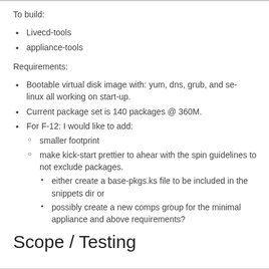To build:
Livecd-tools
appliance-tools
Requirements:
Bootable virtual disk image with: yum, dns, grub, and selinux all working on start-up.
Current package set is 140 packages @ 360M.
For F-12: I would like to add:
smaller footprint
make kick-start prettier to ahear with the spin guidelines to not exclude packages.
either create a base-pkgs.ks file to be included in the snippets dir or
possibly create a new comps group for the minimal appliance and above requirements?
Scope / Testing